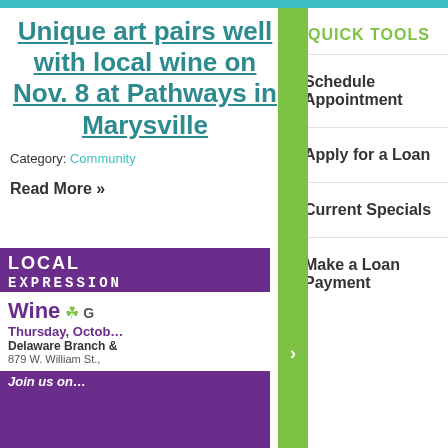Unique art pairs well with local wine on Nov. 8 at Pathways in Marysville
Category: Community
Read More »
[Figure (photo): Event flyer image showing 'Local Expression' wine event at Delaware Branch, 879 W. William St., Thursday October, with purple and white design]
QUICK TOOLS
Schedule Appointment
Apply for a Loan
Current Specials
Make a Loan Payment